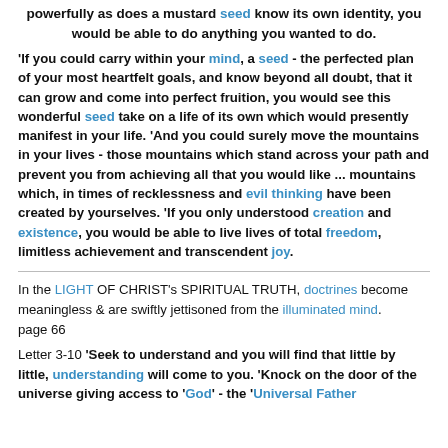powerfully as does a mustard seed know its own identity, you would be able to do anything you wanted to do.
'If you could carry within your mind, a seed - the perfected plan of your most heartfelt goals, and know beyond all doubt, that it can grow and come into perfect fruition, you would see this wonderful seed take on a life of its own which would presently manifest in your life. 'And you could surely move the mountains in your lives - those mountains which stand across your path and prevent you from achieving all that you would like ... mountains which, in times of recklessness and evil thinking have been created by yourselves. 'If you only understood creation and existence, you would be able to live lives of total freedom, limitless achievement and transcendent joy.
In the LIGHT OF CHRIST's SPIRITUAL TRUTH, doctrines become meaningless & are swiftly jettisoned from the illuminated mind.
page 66
Letter 3-10 'Seek to understand and you will find that little by little, understanding will come to you. 'Knock on the door of the universe giving access to 'God' - the 'Universal Father